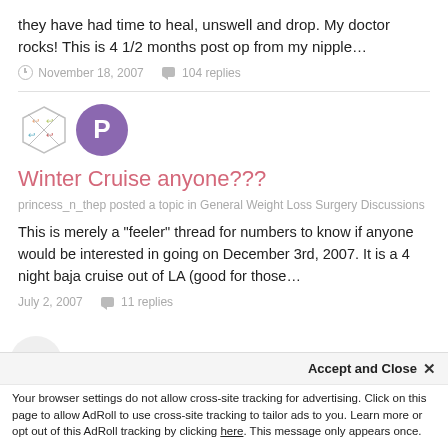they have had time to heal, unswell and drop. My doctor rocks! This is 4 1/2 months post op from my nipple…
November 18, 2007   104 replies
[Figure (illustration): Two avatars: a hexagonal badge with decorative icons and a purple circle with letter P]
Winter Cruise anyone???
princess_n_thep posted a topic in General Weight Loss Surgery Discussions
This is merely a "feeler" thread for numbers to know if anyone would be interested in going on December 3rd, 2007. It is a 4 night baja cruise out of LA (good for those…
July 2, 2007   11 replies
Accept and Close ✕
Your browser settings do not allow cross-site tracking for advertising. Click on this page to allow AdRoll to use cross-site tracking to tailor ads to you. Learn more or opt out of this AdRoll tracking by clicking here. This message only appears once.